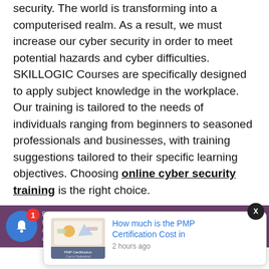security. The world is transforming into a computerised realm. As a result, we must increase our cyber security in order to meet potential hazards and cyber difficulties. SKILLOGIC Courses are specifically designed to apply subject knowledge in the workplace. Our training is tailored to the needs of individuals ranging from beginners to seasoned professionals and businesses, with training suggestions tailored to their specific learning objectives. Choosing online cyber security training is the right choice.
Co...
[Figure (screenshot): A notification popup showing 'How much is the PMP Certification Cost in' with a thumbnail image and '2 hours ago' timestamp]
By continuing to browse, you accept third-party cookies on your device to enhance site navigation, analyze site usage, and assist in our marketing efforts. Terms of Use & Privacy Policy   Accept